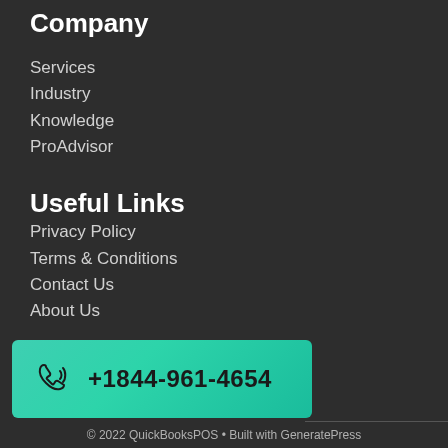Company
Services
Industry
Knowledge
ProAdvisor
Useful Links
Privacy Policy
Terms & Conditions
Contact Us
About Us
+1844-961-4654
© 2022 QuickBooksPOS • Built with GeneratePress